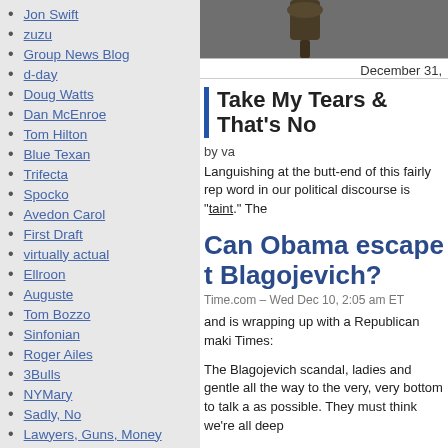Jon Swift
zuzu
Group News Blog
d-day
Doug Watts
Dan McEnroe
Tom Hilton
Blue Texan
Trifecta
Spocko
Avedon Carol
First Draft
virtually actual
Ellroon
Auguste
Tom Bozzo
Sinfonian
Roger Ailes
3Bulls
NYMary
Sadly, No
Lawyers, Guns, Money
Atrios
4 Legs
Attaturk
David Austin TX
Doc
[Figure (photo): Partial photo at top of right column, appears to show a metallic or decorative object.]
December 31,
Take My Tears & That's No
by va
Languishing at the butt-end of this fairly rep word in our political discourse is "taint." The
Can Obama escape t Blagojevich?
Time.com – Wed Dec 10, 2:05 am ET
and is wrapping up with a Republican maki Times:
The Blagojevich scandal, ladies and gentle all the way to the very, very bottom to talk a as possible. They must think we're all deep
And who's to say we're not!! Case in point: